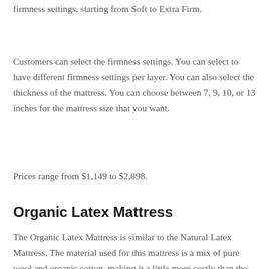firmness settings, starting from Soft to Extra Firm.
Customers can select the firmness settings. You can select to have different firmness settings per layer. You can also select the thickness of the mattress. You can choose between 7, 9, 10, or 13 inches for the mattress size that you want.
Prices range from $1,149 to $2,898.
Organic Latex Mattress
The Organic Latex Mattress is similar to the Natural Latex Mattress. The material used for this mattress is a mix of pure wool and organic cotton, making it a little more costly than the Natural Latex Mattress.
Clients are also to customize the split side firmness of the three layers.  The four firmness options are Extra Firm, Firm, Medium,